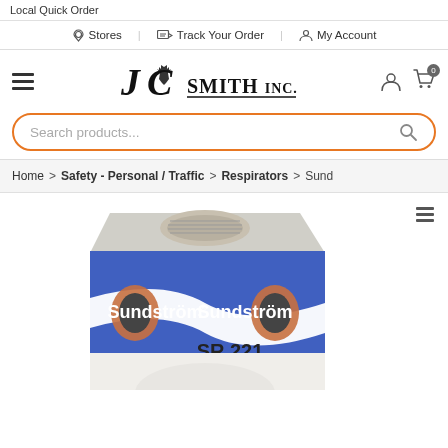Local Quick Order
Stores | Track Your Order | My Account
[Figure (logo): JC Smith Inc. logo with shopping cart and user icons, and search bar]
Home > Safety - Personal / Traffic > Respirators > Sund...
[Figure (photo): Sundström SR 221 respirator product box, blue and white with SR 221 and 16 x 5 pcs/st label]